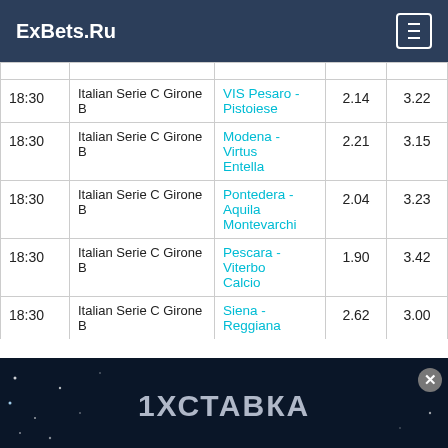ExBets.Ru
| Time | League | Match | Odds1 | Odds2 |
| --- | --- | --- | --- | --- |
| 18:30 | Italian Serie C Girone B | VIS Pesaro - Pistoiese | 2.14 | 3.22 |
| 18:30 | Italian Serie C Girone B | Modena - Virtus Entella | 2.21 | 3.15 |
| 18:30 | Italian Serie C Girone B | Pontedera - Aquila Montevarchi | 2.04 | 3.23 |
| 18:30 | Italian Serie C Girone B | Pescara - Viterbo Calcio | 1.90 | 3.42 |
| 18:30 | Italian Serie C Girone B | Siena - Reggiana | 2.62 | 3.00 |
[Figure (screenshot): Advertisement banner for 1ХСТАВКА (1xStavka) betting site with dark blue starry background]